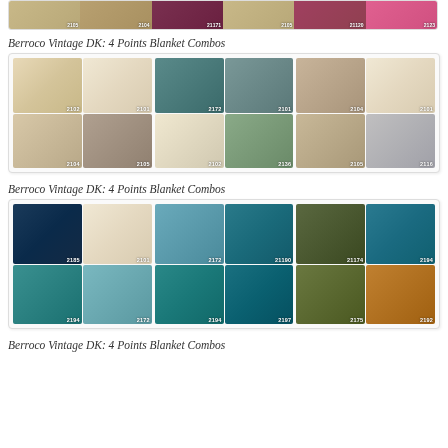[Figure (illustration): Top strip showing yarn color swatches with codes 2105, 2104, 21171, 2105, 21120, 2123]
Berroco Vintage DK: 4 Points Blanket Combos
[Figure (illustration): Grid of yarn color combo swatches: group 1 (2102,2101,2104,2105), group 2 (2172,2101,2102,2136), group 3 (2104,2101,2105,2116)]
Berroco Vintage DK: 4 Points Blanket Combos
[Figure (illustration): Grid of yarn color combo swatches: group 1 (2185,2101,2194,2172), group 2 (2172,21190,2194,2197), group 3 (21174,2194,2175,2192)]
Berroco Vintage DK: 4 Points Blanket Combos